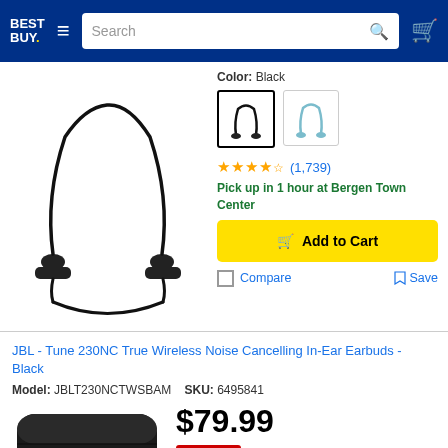Best Buy - Navigation header with search bar and cart
Color: Black
[Figure (photo): Two color swatch options for Sony wireless earphones: black (selected) and blue/silver]
(1,739) - 4.5 star rating
Pick up in 1 hour at Bergen Town Center
Add to Cart
Compare   Save
[Figure (photo): Sony wireless neckband earphones in black, shown with cable looping down]
JBL - Tune 230NC True Wireless Noise Cancelling In-Ear Earbuds - Black
Model: JBLT230NCTWSBAM   SKU: 6495841
$79.99
Save $20  Was $99.99
[Figure (photo): JBL Tune 230NC earbuds in black charging case, partially open showing earbuds inside]